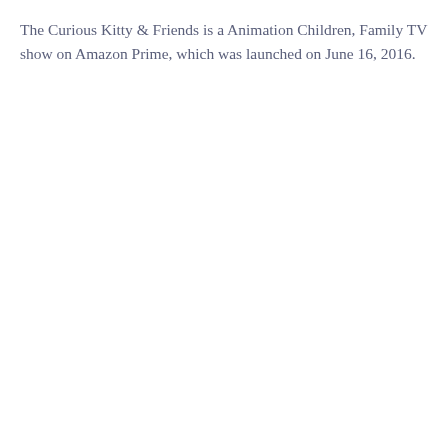The Curious Kitty & Friends is a Animation Children, Family TV show on Amazon Prime, which was launched on June 16, 2016.